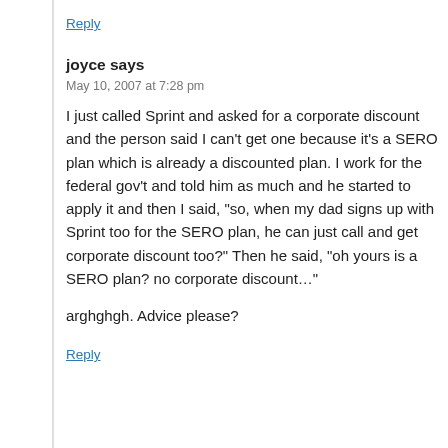Reply
joyce says
May 10, 2007 at 7:28 pm
I just called Sprint and asked for a corporate discount and the person said I can't get one because it's a SERO plan which is already a discounted plan. I work for the federal gov't and told him as much and he started to apply it and then I said, “so, when my dad signs up with Sprint too for the SERO plan, he can just call and get corporate discount too?” Then he said, “oh yours is a SERO plan? no corporate discount...”
arghghgh. Advice please?
Reply